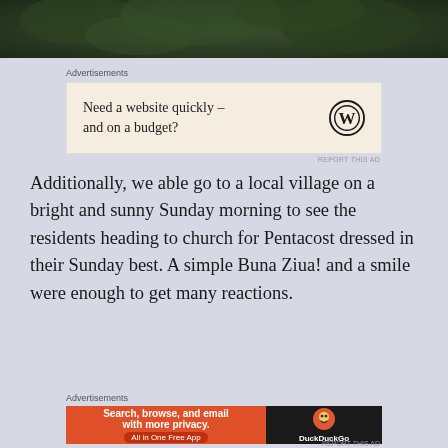[Figure (photo): Top portion of a photo showing dark green foliage/trees background]
Advertisements
[Figure (other): WordPress advertisement: 'Need a website quickly – and on a budget?' with WordPress logo]
Additionally, we able go to a local village on a bright and sunny Sunday morning to see the residents heading to church for Pentacost dressed in their Sunday best. A simple Buna Ziua! and a smile were enough to get many reactions.
[Figure (photo): Two photos side by side: left shows people gathering near a building with red door frame; right shows a church door entrance with dark wooden doors]
Advertisements
[Figure (other): DuckDuckGo advertisement: 'Search, browse, and email with more privacy. All in One Free App' with DuckDuckGo logo]